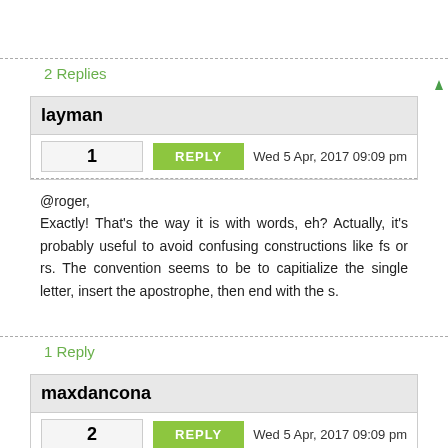2 Replies
layman
1   REPLY   Wed 5 Apr, 2017 09:09 pm
@roger,
Exactly! That's the way it is with words, eh? Actually, it's probably useful to avoid confusing constructions like fs or rs. The convention seems to be to capitialize the single letter, insert the apostrophe, then end with the s.
1 Reply
maxdancona
2   REPLY   Wed 5 Apr, 2017 09:09 pm
@roger,